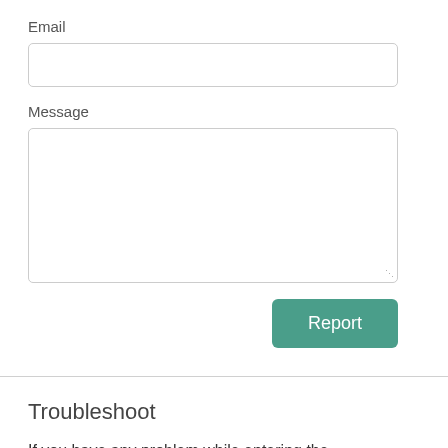Email
Message
Report
Troubleshoot
If you have any problem while entering the Forumcuonline Login Portal, troubleshoot as below.
1. Make sure the Caps Lock is turned off.